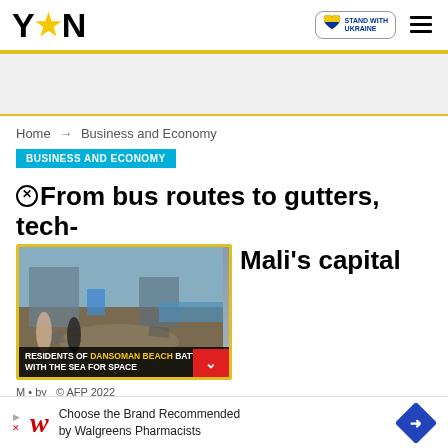YEN — STAND WITH UKRAINE
Home → Business and Economy
BUSINESS AND ECONOMY
From bus routes to gutters, tech- Mali's capital
[Figure (screenshot): Video thumbnail showing coastal scene with YEN logo watermarks, play button, and caption: RESIDENTS OF DANSOMAN BEACH BATTLE WITH THE SEA FOR SPACE]
M • by  © AFP 2022
Choose the Brand Recommended by Walgreens Pharmacists